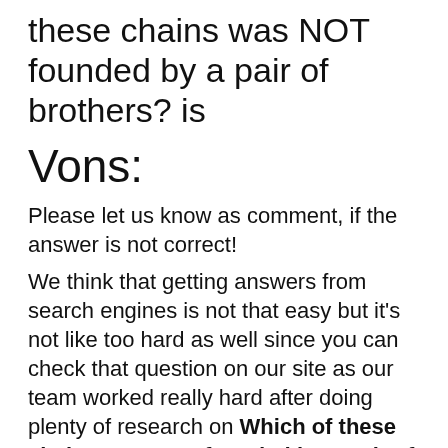Answer of the Which of these chains was NOT founded by a pair of brothers? is
Vons:
Please let us know as comment, if the answer is not correct!
We think that getting answers from search engines is not that easy but it's not like too hard as well since you can check that question on our site as our team worked really hard after doing plenty of research on Which of these chains was NOT founded by a pair of brothers?.